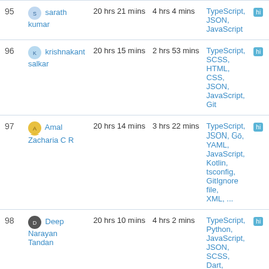| Rank | User | Total Time | Daily Avg | Languages | Badge |
| --- | --- | --- | --- | --- | --- |
| 95 | sarath kumar | 20 hrs 21 mins | 4 hrs 4 mins | TypeScript, JSON, JavaScript | hi |
| 96 | krishnakant salkar | 20 hrs 15 mins | 2 hrs 53 mins | TypeScript, SCSS, HTML, CSS, JSON, JavaScript, Git | hi |
| 97 | Amal Zacharia C R | 20 hrs 14 mins | 3 hrs 22 mins | TypeScript, JSON, Go, YAML, JavaScript, Kotlin, tsconfig, GitIgnore file, XML, ... | hi |
| 98 | Deep Narayan Tandan | 20 hrs 10 mins | 4 hrs 2 mins | TypeScript, Python, JavaScript, JSON, SCSS, Dart, Markdown, Text, HTML, ... | hi |
| 99 | Utkarsh | 20 hrs 8 mins | 3 hrs 21 mins | Svelte, TypeScript, CSS, Docker, | hi |